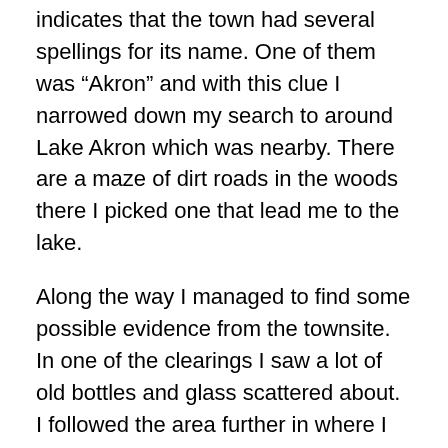indicates that the town had several spellings for its name. One of them was “Akron” and with this clue I narrowed down my search to around Lake Akron which was nearby. There are a maze of dirt roads in the woods there I picked one that lead me to the lake.
Along the way I managed to find some possible evidence from the townsite. In one of the clearings I saw a lot of old bottles and glass scattered about. I followed the area further in where I saw bits of ceramics, metal, wood and even and old license plate on the ground. It was obvious that I found a site related to the town just not sure what it was. I didn’t see any structural remains or bricks like I have at similar sites but I still have more to explore here.
Here is more history on the town:  John C. Campbell was the first postmaster when the post office was